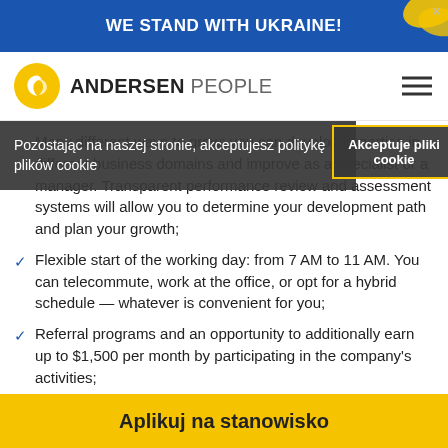WE STAND WITH UKRAINE!
[Figure (logo): Andersen People logo with yellow circle icon and company name]
Pozostając na naszej stronie, akceptujesz politykę plików cookie
Akceptuje pliki cookie
Many different ways to grow: you can develop expertise in different business domains and improve as a specialist or a manager. Transparent performance review and assessment systems will allow you to determine your development path and plan your growth;
Flexible start of the working day: from 7 AM to 11 AM. You can telecommute, work at the office, or opt for a hybrid schedule — whatever is convenient for you;
Referral programs and an opportunity to additionally earn up to $1,500 per month by participating in the company's activities;
Access to the corporate training portal, where the entire
Aplikuj na stanowisko